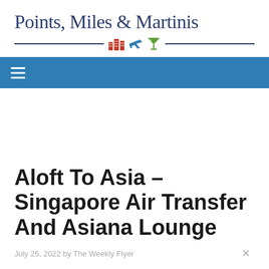Points, Miles & Martinis
☰
Aloft To Asia – Singapore Air Transfer And Asiana Lounge
July 25, 2022 by The Weekly Flyer